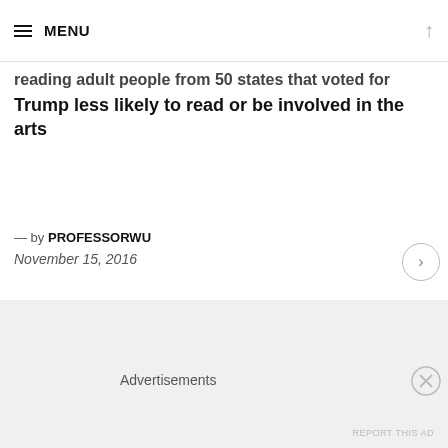MENU
reading adult people from 50 states that voted for Trump less likely to read or be involved in the arts
— by PROFESSORWU
November 15, 2016
Advertisements